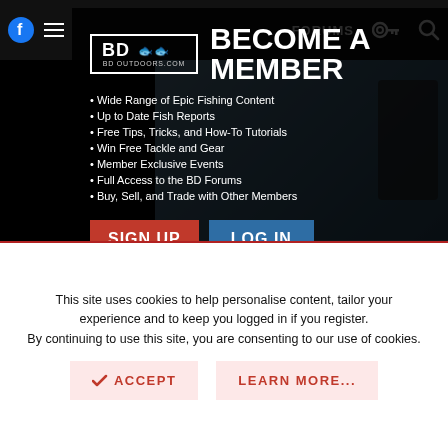[Figure (screenshot): BD Outdoors website navigation bar with Facebook icon, hamburger menu, FORUMS text link, key icon, and search icon on dark background]
[Figure (screenshot): BD Outdoors membership modal popup with logo, BECOME A MEMBER heading, bullet list of benefits, SIGN UP and LOG IN buttons over a fishing photo background]
Wide Range of Epic Fishing Content
Up to Date Fish Reports
Free Tips, Tricks, and How-To Tutorials
Win Free Tackle and Gear
Member Exclusive Events
Full Access to the BD Forums
Buy, Sell, and Trade with Other Members
This site uses cookies to help personalise content, tailor your experience and to keep you logged in if you register. By continuing to use this site, you are consenting to our use of cookies.